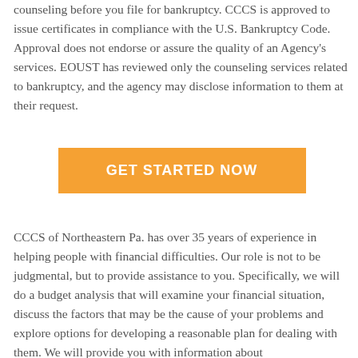counseling before you file for bankruptcy. CCCS is approved to issue certificates in compliance with the U.S. Bankruptcy Code. Approval does not endorse or assure the quality of an Agency's services. EOUST has reviewed only the counseling services related to bankruptcy, and the agency may disclose information to them at their request.
GET STARTED NOW
CCCS of Northeastern Pa. has over 35 years of experience in helping people with financial difficulties. Our role is not to be judgmental, but to provide assistance to you. Specifically, we will do a budget analysis that will examine your financial situation, discuss the factors that may be the cause of your problems and explore options for developing a reasonable plan for dealing with them. We will provide you with information about